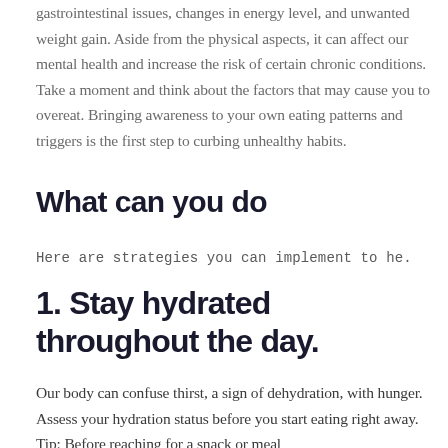gastrointestinal issues, changes in energy level, and unwanted weight gain. Aside from the physical aspects, it can affect our mental health and increase the risk of certain chronic conditions. Take a moment and think about the factors that may cause you to overeat. Bringing awareness to your own eating patterns and triggers is the first step to curbing unhealthy habits.
What can you do
Here are strategies you can implement to he.
1. Stay hydrated throughout the day.
Our body can confuse thirst, a sign of dehydration, with hunger. Assess your hydration status before you start eating right away. Tip: Before reaching for a snack or meal